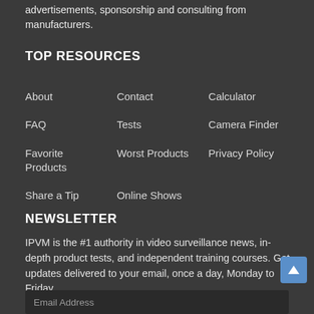advertisements, sponsorship and consulting from manufacturers.
TOP RESOURCES
About
Contact
Calculator
FAQ
Tests
Camera Finder
Favorite Products
Worst Products
Privacy Policy
Share a Tip
Online Shows
NEWSLETTER
IPVM is the #1 authority in video surveillance news, in-depth product tests, and independent training courses. Get updates delivered to your email, once a day, Monday to Friday.
Email Address